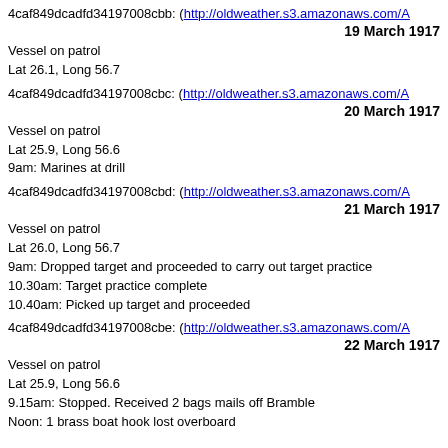4caf849dcadfd34197008cbb: (http://oldweather.s3.amazonaws.com/A
19 March 1917
Vessel on patrol
Lat 26.1, Long 56.7
4caf849dcadfd34197008cbc: (http://oldweather.s3.amazonaws.com/A
20 March 1917
Vessel on patrol
Lat 25.9, Long 56.6
9am: Marines at drill
4caf849dcadfd34197008cbd: (http://oldweather.s3.amazonaws.com/A
21 March 1917
Vessel on patrol
Lat 26.0, Long 56.7
9am: Dropped target and proceeded to carry out target practice
10.30am: Target practice complete
10.40am: Picked up target and proceeded
4caf849dcadfd34197008cbe: (http://oldweather.s3.amazonaws.com/A
22 March 1917
Vessel on patrol
Lat 25.9, Long 56.6
9.15am: Stopped. Received 2 bags mails off Bramble
Noon: 1 brass boat hook lost overboard